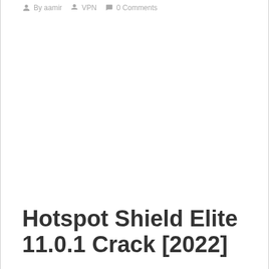By aamir   VPN   0 Comments
[Figure (other): Large blank white image area placeholder]
Hotspot Shield Elite 11.0.1 Crack [2022]